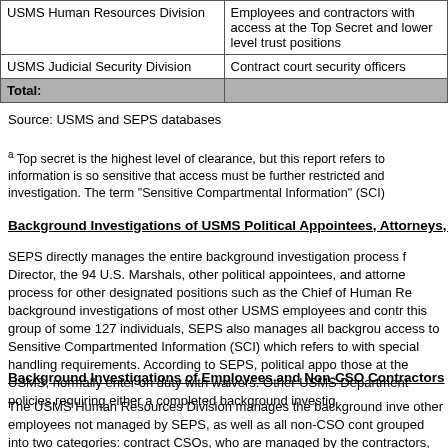| Division | Scope |
| --- | --- |
| USMS Human Resources Division | Employees and contractors with access at the Top Secret and lower level trust positions |
| USMS Judicial Security Division | Contract court security officers |
| Total: |  |
Source: USMS and SEPS databases
a Top secret is the highest level of clearance, but this report refers to information is so sensitive that access must be further restricted and investigation. The term "Sensitive Compartmental Information" (SCI)
Background Investigations of USMS Political Appointees, Attorneys, a
SEPS directly manages the entire background investigation process for the Director, the 94 U.S. Marshals, other political appointees, and attorneys process for other designated positions such as the Chief of Human Re background investigations of most other USMS employees and contra this group of some 127 individuals, SEPS also manages all backgrou access to Sensitive Compartmented Information (SCI) which refers to with special handling requirements. According to SEPS, political appo those at the USMS, normally enter on duty with waivers. Other USMS Department policies requiring either a completed background investig
Background Investigations of Employees and Non-CSO Contractors
The USMS Human Resources Division manages the background inve other employees not managed by SEPS, as well as all non-CSO cont grouped into two categories: contract CSOs, who are managed by the contractors, who are managed by the Human Resources Division. In